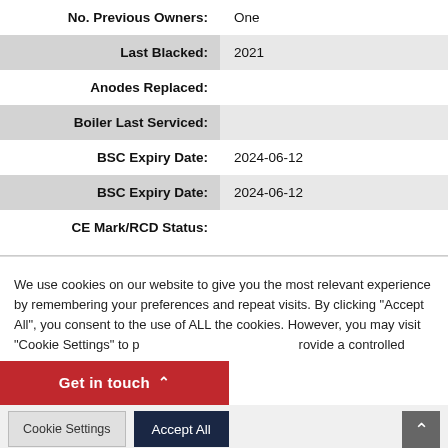| Field | Value |
| --- | --- |
| No. Previous Owners: | One |
| Last Blacked: | 2021 |
| Anodes Replaced: |  |
| Boiler Last Serviced: |  |
| BSC Expiry Date: | 2024-06-12 |
| BSC Expiry Date: | 2024-06-12 |
| CE Mark/RCD Status: |  |
We use cookies on our website to give you the most relevant experience by remembering your preferences and repeat visits. By clicking "Accept All", you consent to the use of ALL the cookies. However, you may visit "Cookie Settings" to provide a controlled consent.
Get in touch
Cookie Settings
Accept All